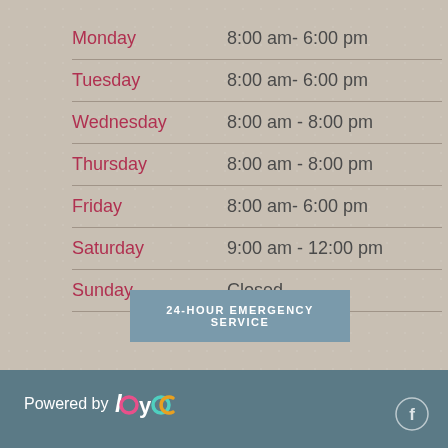| Day | Hours |
| --- | --- |
| Monday | 8:00 am- 6:00 pm |
| Tuesday | 8:00 am- 6:00 pm |
| Wednesday | 8:00 am - 8:00 pm |
| Thursday | 8:00 am - 8:00 pm |
| Friday | 8:00 am- 6:00 pm |
| Saturday | 9:00 am - 12:00 pm |
| Sunday | Closed |
24-HOUR EMERGENCY SERVICE
Powered by loyo